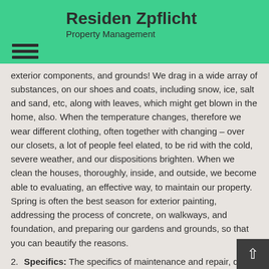Residen Zpflicht
Property Management
exterior components, and grounds! We drag in a wide array of substances, on our shoes and coats, including snow, ice, salt and sand, etc, along with leaves, which might get blown in the home, also. When the temperature changes, therefore we wear different clothing, often together with changing – over our closets, a lot of people feel elated, to be rid with the cold, severe weather, and our dispositions brighten. When we clean the houses, thoroughly, inside, and outside, we become able to evaluating, an effective way, to maintain our property. Spring is often the best season for exterior painting, addressing the process of concrete, on walkways, and foundation, and preparing our gardens and grounds, so that you can beautify the reasons.
2. Specifics: The specifics of maintenance and repair, due to this season, is making a schedule, for specific items, and preparing an authentic reserve, for these particular purposes. Items, for example exterior painting, upkeep of decks and patios, etc